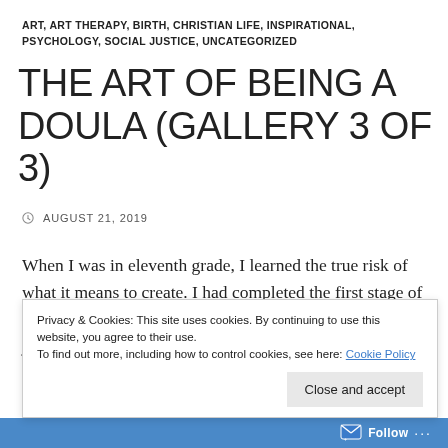ART, ART THERAPY, BIRTH, CHRISTIAN LIFE, INSPIRATIONAL, PSYCHOLOGY, SOCIAL JUSTICE, UNCATEGORIZED
THE ART OF BEING A DOULA (GALLERY 3 OF 3)
AUGUST 21, 2019
When I was in eleventh grade, I learned the true risk of what it means to create. I had completed the first stage of a clay sculpture – a hand-formed depiction of my faith journey, as the art assignment instructed. I had molded a statue of a woman wearing a long flowing robe, holding a swaddled baby and
Privacy & Cookies: This site uses cookies. By continuing to use this website, you agree to their use.
To find out more, including how to control cookies, see here: Cookie Policy
Close and accept
Follow